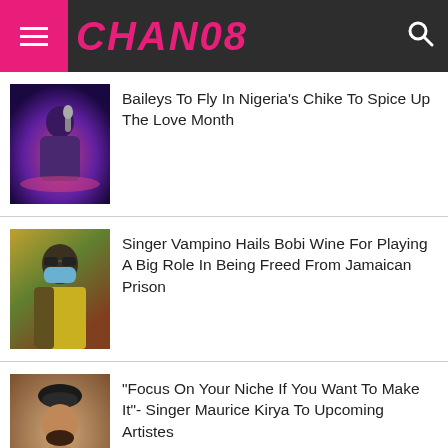CHAN08
[Figure (photo): Person performing/singing on stage with colorful lighting]
Baileys To Fly In Nigeria's Chike To Spice Up The Love Month
[Figure (photo): Person wearing sunglasses and a blue face mask outdoors]
Singer Vampino Hails Bobi Wine For Playing A Big Role In Being Freed From Jamaican Prison
[Figure (photo): Man wearing a black beret, portrait shot]
“Focus On Your Niche If You Want To Make It”- Singer Maurice Kirya To Upcoming Artistes